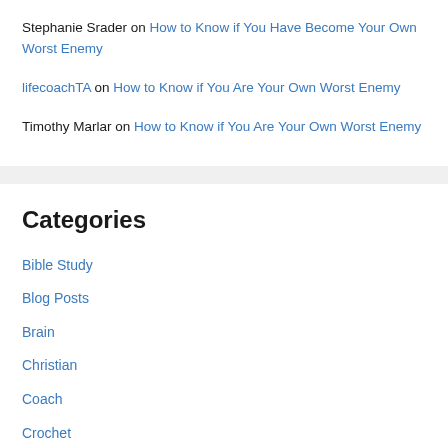Stephanie Srader on How to Know if You Have Become Your Own Worst Enemy
lifecoachTA on How to Know if You Are Your Own Worst Enemy
Timothy Marlar on How to Know if You Are Your Own Worst Enemy
Categories
Bible Study
Blog Posts
Brain
Christian
Coach
Crochet
Development